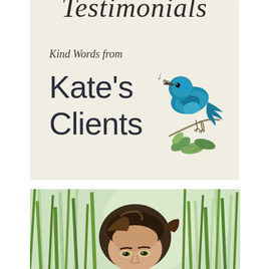Testimonials
Kind Words from
Kate's Clients
[Figure (illustration): Blue bird (indigo bunting) perched on a branch with green leaves]
[Figure (photo): Woman with dark hair peeking through tall green grass, outdoor nature setting]